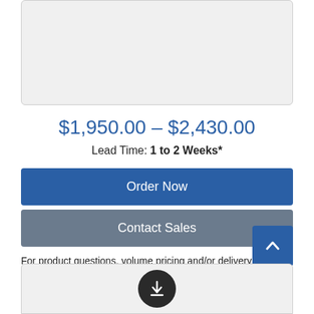[Figure (other): Gray placeholder image box with rounded corners and border]
$1,950.00 – $2,430.00
Lead Time: 1 to 2 Weeks*
Order Now
Contact Sales
For product questions, volume pricing and/or delivery outside of the US and Canada, please contact sales.
[Figure (other): Scroll-to-top button with upward chevron arrow on blue background]
[Figure (other): Download section with circular dark download icon on gray background]